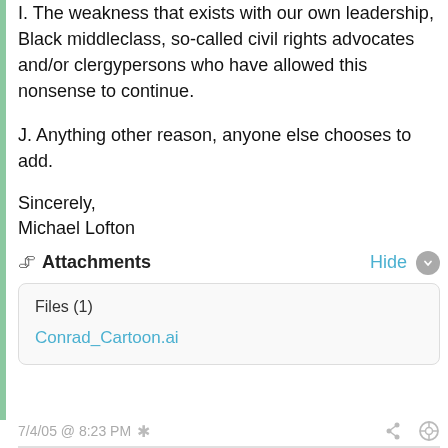I. The weakness that exists with our own leadership, Black middleclass, so-called civil rights advocates and/or clergypersons who have allowed this nonsense to continue.
J. Anything other reason, anyone else chooses to add.
Sincerely,
Michael Lofton
📎 Attachments   Hide ▾
Files (1)
Conrad_Cartoon.ai
7/4/05 @ 8:23 PM *